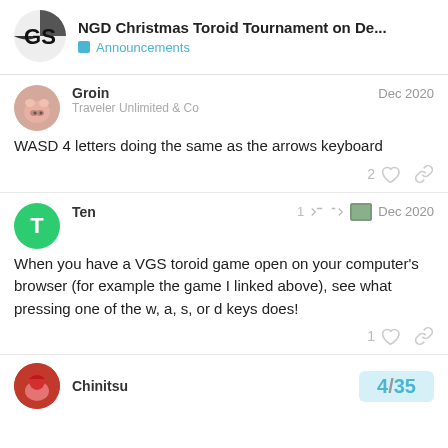NGD Christmas Toroid Tournament on De... | Announcements
Groin
Traveler Unlimited & Co
Dec 2020
WASD 4 letters doing the same as the arrows keyboard
Ten
1 Dec 2020
When you have a VGS toroid game open on your computer's browser (for example the game I linked above), see what pressing one of the w, a, s, or d keys does!
Chinitsu
4 / 35